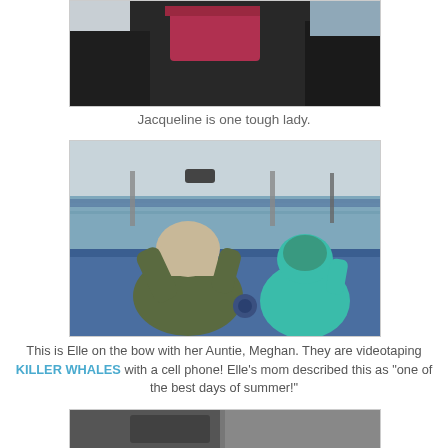[Figure (photo): Partial photo showing person on a boat, cropped at top of page.]
Jacqueline is one tough lady.
[Figure (photo): Two people on the bow of a boat. One in an olive green jacket with a plaid hood is holding up a cell phone/camera. The other is a child in a teal/mint green hooded jacket. They are looking out at open water. The boat railing is blue.]
This is Elle on the bow with her Auntie, Meghan. They are videotaping KILLER WHALES with a cell phone! Elle's mom described this as "one of the best days of summer!"
[Figure (photo): Partial photo at bottom of page, partially cut off.]